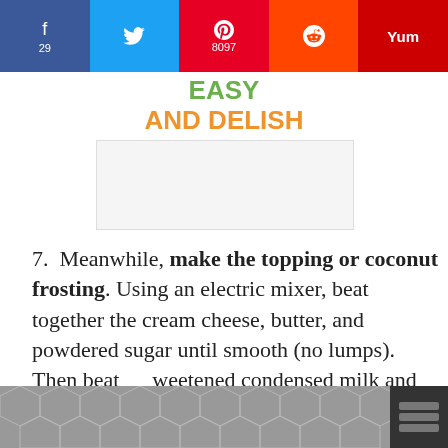[Figure (screenshot): Social sharing bar with Facebook (29), Twitter, Pinterest (8097), Reddit, and Yummly buttons]
[Figure (logo): Easy and Delish logo in green and orange text]
7. Meanwhile, make the topping or coconut frosting. Using an electric mixer, beat together the cream cheese, butter, and powdered sugar until smooth (no lumps). Then beat sweetened condensed milk and coconut milk. If you want, stir in
[Figure (screenshot): What's Next promo showing Coctel de Camarones with thumbnail image]
[Figure (screenshot): Bottom decorative bar with chevron/hexagon pattern and Mediavine logo]